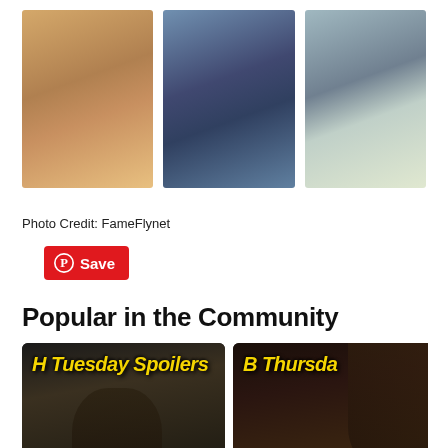[Figure (photo): Three photos of a blonde woman in outdoor/candid settings arranged in a horizontal row]
Photo Credit: FameFlynet
Save
Popular in the Community
[Figure (photo): General Hospital Spoilers card with yellow italic text 'H Tuesday Spoilers' overlay and white text at bottom: 'General Hospital Spoilers: Tuesday, August 30 – Sonn...']
[Figure (photo): The Bold and the Beautiful spoilers card with yellow italic text 'B Thursda' overlay and white text at bottom: 'The Bold and the Spoilers: Thursda']
[Figure (photo): Two avatar circles visible at bottom of page]